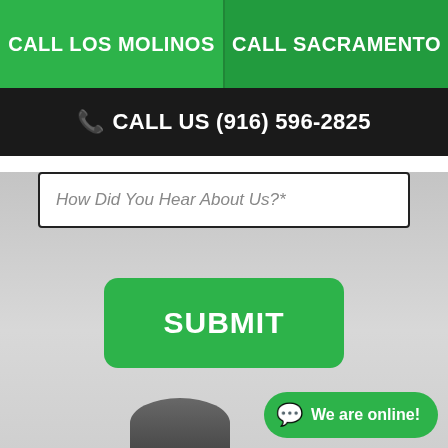CALL LOS MOLINOS | CALL SACRAMENTO
CALL US (916) 596-2825
How Did You Hear About Us?*
SUBMIT
We are online!